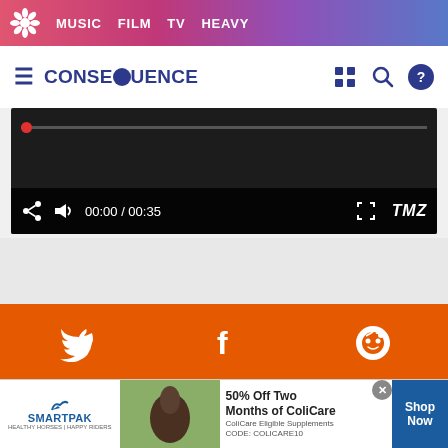MUSIC   FILM   TV   HEAVY
CONSEQUENCE
[Figure (screenshot): Video player showing 00:00 / 00:35 with TMZ branding and playback controls]
[Figure (infographic): Orange social sharing bar with Twitter, Facebook, and Reddit icons]
Artists
ASAP Rocky
[Figure (infographic): SmartPak advertisement banner: 50% Off Two Months of ColiCare. ColiCare Eligible Supplements. CODE: COLICARE10. Shop Now button.]